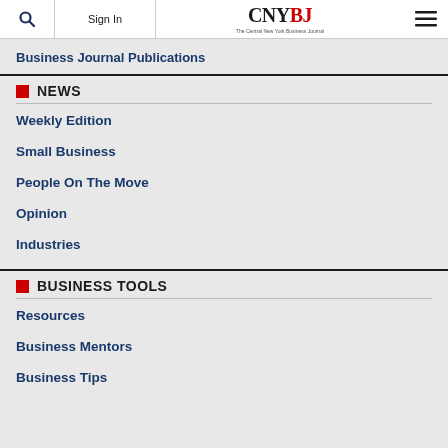Sign In | CNYBJ The Central New York Business Journal
Business Journal Publications
NEWS
Weekly Edition
Small Business
People On The Move
Opinion
Industries
BUSINESS TOOLS
Resources
Business Mentors
Business Tips